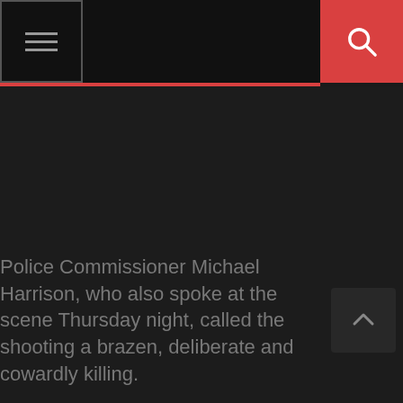[Menu] [Search]
Police Commissioner Michael Harrison, who also spoke at the scene Thursday night, called the shooting a brazen, deliberate and cowardly killing.